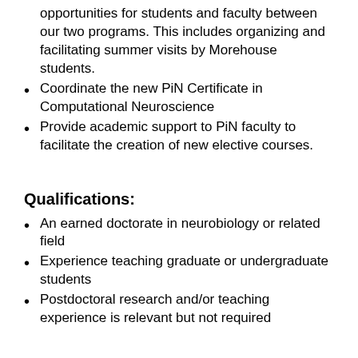opportunities for students and faculty between our two programs. This includes organizing and facilitating summer visits by Morehouse students.
Coordinate the new PiN Certificate in Computational Neuroscience
Provide academic support to PiN faculty to facilitate the creation of new elective courses.
Qualifications:
An earned doctorate in neurobiology or related field
Experience teaching graduate or undergraduate students
Postdoctoral research and/or teaching experience is relevant but not required
Job Skills and Competencies:
Broad content knowledge in the field of neurobiology that will enable the CF to effectively